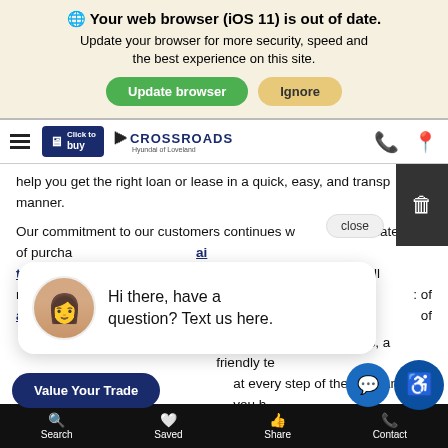[Figure (screenshot): Browser update notification banner with globe icon, bold title 'Your web browser (iOS 11) is out of date.', subtitle text, green 'Update browser' button and tan 'Ignore' button]
[Figure (screenshot): Navigation bar with hamburger menu, Click to Buy button (dark blue), Crossroads Hyundai of Loveland logo, phone and location icons]
help you get the right loan or lease in a quick, easy, and transparent manner.
Our commitment to our customers continues well beyond the date of purchase...
Hyundai technicians...handle all manner of...authentic...
[Figure (screenshot): Chat popup with woman avatar photo and message: Hi there, have a question? Text us here. With close button and side barcode panel]
...today for quality vehicles, a friendly team...at every step of the way. And if you h...
[Figure (screenshot): Bottom navigation bar with Search, Saved, Share, Contact items. Value Your Trade button and floating accessibility/chat buttons.]